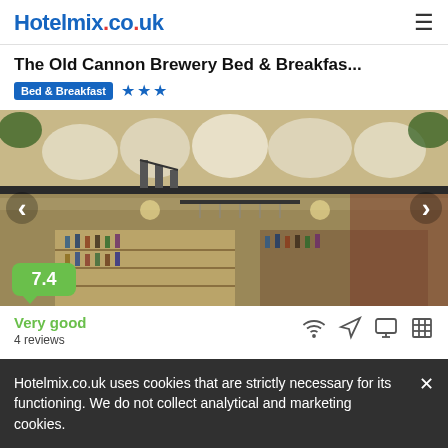Hotelmix.co.uk
The Old Cannon Brewery Bed & Breakfas...
Bed & Breakfast ★★★
[Figure (photo): Interior of The Old Cannon Brewery Bed & Breakfast showing a bar area with shelves of bottles, hanging glassware, industrial-style ceiling with exposed pipes, and mezzanine level with storage sacks. Score badge showing 7.4 (Very good) in green.]
Very good
4 reviews
Hotelmix.co.uk uses cookies that are strictly necessary for its functioning. We do not collect analytical and marketing cookies.